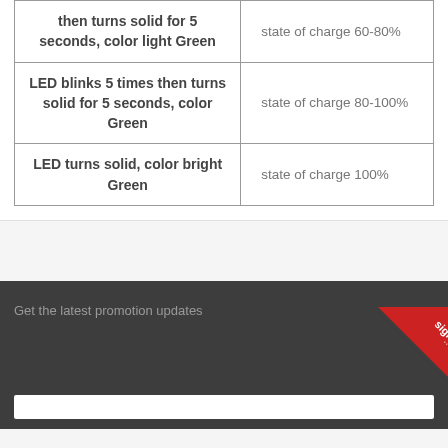| LED Behavior | Meaning |
| --- | --- |
| LED blinks 5 times then turns solid for 5 seconds, color light Green | state of charge 60-80% |
| LED blinks 5 times then turns solid for 5 seconds, color Green | state of charge 80-100% |
| LED turns solid, color bright Green | state of charge 100% |
Get the latest promotion updates